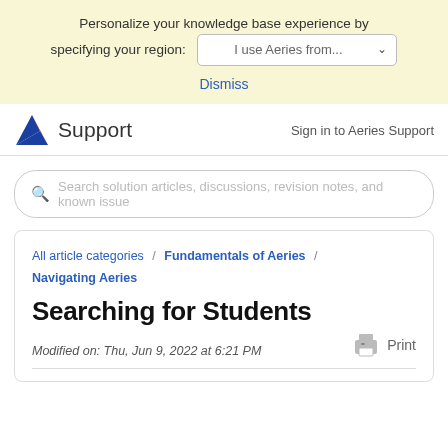Personalize your knowledge base experience by specifying your region: I use Aeries from...
Dismiss
Support   Sign in to Aeries Support
Search solution articles, discussions, revision notes, and known issue
All article categories / Fundamentals of Aeries / Navigating Aeries
Searching for Students
Modified on: Thu, Jun 9, 2022 at 6:21 PM
Print